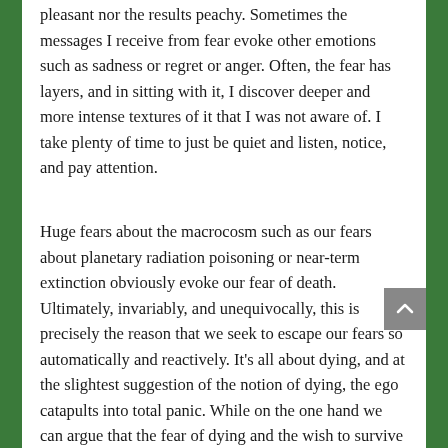pleasant nor the results peachy. Sometimes the messages I receive from fear evoke other emotions such as sadness or regret or anger. Often, the fear has layers, and in sitting with it, I discover deeper and more intense textures of it that I was not aware of. I take plenty of time to just be quiet and listen, notice, and pay attention.
Huge fears about the macrocosm such as our fears about planetary radiation poisoning or near-term extinction obviously evoke our fear of death. Ultimately, invariably, and unequivocally, this is precisely the reason that we seek to escape our fears so automatically and reactively. It's all about dying, and at the slightest suggestion of the notion of dying, the ego catapults into total panic. While on the one hand we can argue that the fear of dying and the wish to survive are “only natural,” we probably all